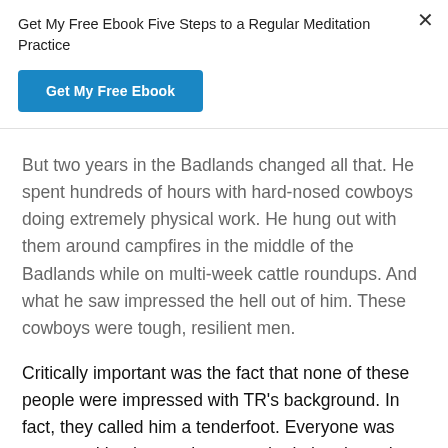Get My Free Ebook Five Steps to a Regular Meditation Practice
Get My Free Ebook
But two years in the Badlands changed all that. He spent hundreds of hours with hard-nosed cowboys doing extremely physical work. He hung out with them around campfires in the middle of the Badlands while on multi-week cattle roundups. And what he saw impressed the hell out of him. These cowboys were tough, resilient men.
Critically important was the fact that none of these people were impressed with TR's background. In fact, they called him a tenderfoot. Everyone was measured by the toughness and grit they brought to